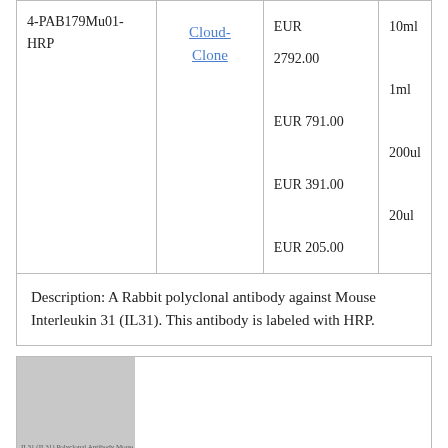| Product ID | Vendor | Price | Size |
| --- | --- | --- | --- |
| 4-PAB179Mu01-HRP | Cloud-Clone | EUR 2792.00
EUR 791.00
EUR 391.00
EUR 205.00 | 10ml
1ml
200ul
20ul |
Description: A Rabbit polyclonal antibody against Mouse Interleukin 31 (IL31). This antibody is labeled with HRP.
[Figure (photo): Product thumbnail image for Interleukin 31 (IL31) Polyclonal Antibody Mouse, shown as a gray placeholder with small text label.]
Interleukin 31 (IL31)